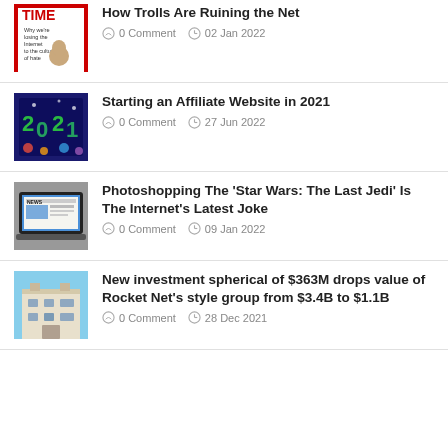How Trolls Are Ruining the Net | 0 Comment | 02 Jan 2022
Starting an Affiliate Website in 2021 | 0 Comment | 27 Jun 2022
Photoshopping The 'Star Wars: The Last Jedi' Is The Internet's Latest Joke | 0 Comment | 09 Jan 2022
New investment spherical of $363M drops value of Rocket Net's style group from $3.4B to $1.1B | 0 Comment | 28 Dec 2021